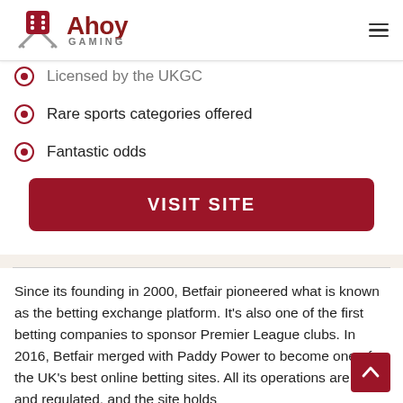Ahoy Gaming
Licensed by the UKGC
Rare sports categories offered
Fantastic odds
VISIT SITE
Since its founding in 2000, Betfair pioneered what is known as the betting exchange platform. It's also one of the first betting companies to sponsor Premier League clubs. In 2016, Betfair merged with Paddy Power to become one of the UK's best online betting sites. All its operations are safe and regulated, and the site holds